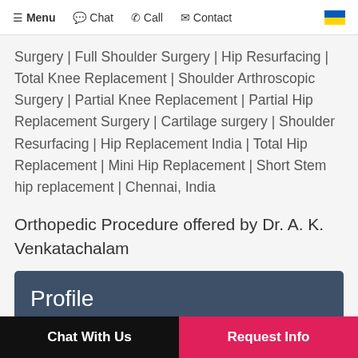≡ Menu  🍃 Chat  📞 Call  ✉ Contact
Surgery | Full Shoulder Surgery | Hip Resurfacing | Total Knee Replacement | Shoulder Arthroscopic Surgery | Partial Knee Replacement | Partial Hip Replacement Surgery | Cartilage surgery | Shoulder Resurfacing | Hip Replacement India | Total Hip Replacement | Mini Hip Replacement | Short Stem hip replacement | Chennai, India
Orthopedic Procedure offered by Dr. A. K. Venkatachalam
Profile
Chat With Us
Request Info